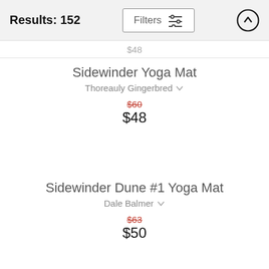Results: 152
$48
Sidewinder Yoga Mat
Thoreauly Gingerbred
$60
$48
Sidewinder Dune #1 Yoga Mat
Dale Balmer
$63
$50